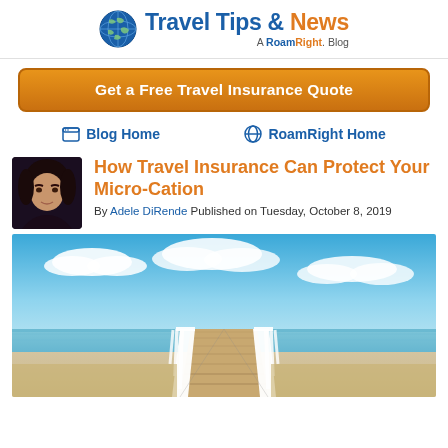Travel Tips & News — A RoamRight. Blog
Get a Free Travel Insurance Quote
Blog Home   RoamRight Home
How Travel Insurance Can Protect Your Micro-Cation
By Adele DiRende Published on Tuesday, October 8, 2019
[Figure (photo): A long white pier extending over calm beach water under a blue sky with white clouds, perspective shot from the start of the pier looking toward the horizon.]